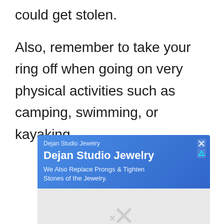could get stolen.
Also, remember to take your ring off when going on very physical activities such as camping, swimming, or kayaking.
[Figure (other): Advertisement for Dejan Studio Jewelry with blue background showing title 'Dejan Studio Jewelry' and subtitle 'We Also Replace Prongs & Tighten Stones of the Jewelry.' with a gray image placeholder below showing an X.]